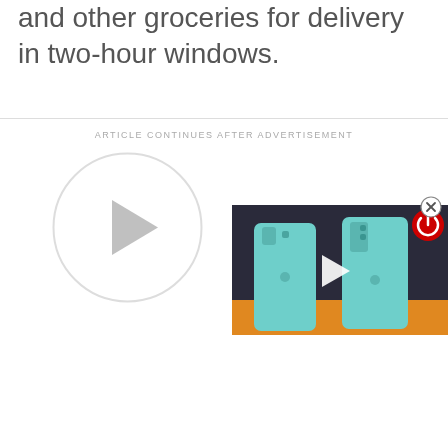and other groceries for delivery in two-hour windows.
ARTICLE CONTINUES AFTER ADVERTISEMENT
[Figure (other): Video player placeholder with circular play button (gray circle with triangle play icon)]
[Figure (screenshot): Video thumbnail showing two teal/mint colored OnePlus smartphones on an orange surface with a white play triangle overlay and a red power button icon in the top right corner]